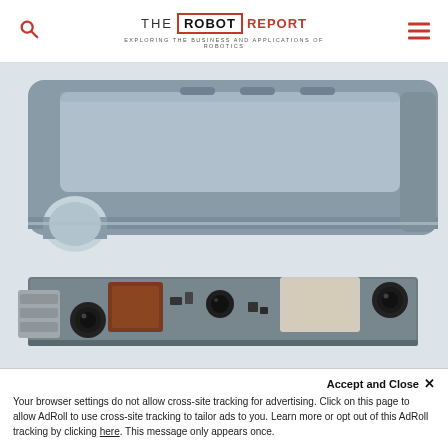THE ROBOT REPORT — EXPLORING THE BUSINESS AND APPLICATIONS OF ROBOTICS
[Figure (photo): Exploded view of the Structure Core depth sensor by Occipital, showing the grey plastic housing on top separated from the internal electronics board with camera modules, connectors, and components below.]
The Structure Core by Occipital | Photo Credit: Occipital
Accept and Close ×
Your browser settings do not allow cross-site tracking for advertising. Click on this page to allow AdRoll to use cross-site tracking to tailor ads to you. Learn more or opt out of this AdRoll tracking by clicking here. This message only appears once.